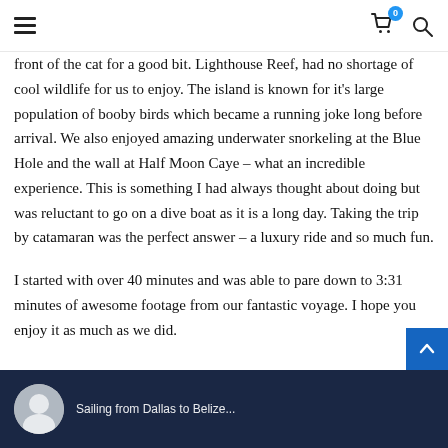Navigation header with hamburger menu, shopping cart (0 items), and search icon
front of the cat for a good bit. Lighthouse Reef, had no shortage of cool wildlife for us to enjoy. The island is known for it's large population of booby birds which became a running joke long before arrival. We also enjoyed amazing underwater snorkeling at the Blue Hole and the wall at Half Moon Caye – what an incredible experience. This is something I had always thought about doing but was reluctant to go on a dive boat as it is a long day. Taking the trip by catamaran was the perfect answer – a luxury ride and so much fun.
I started with over 40 minutes and was able to pare down to 3:31 minutes of awesome footage from our fantastic voyage. I hope you enjoy it as much as we did.
[Figure (photo): Dark blue footer bar with circular avatar photo and partial text, partially visible at bottom of page]